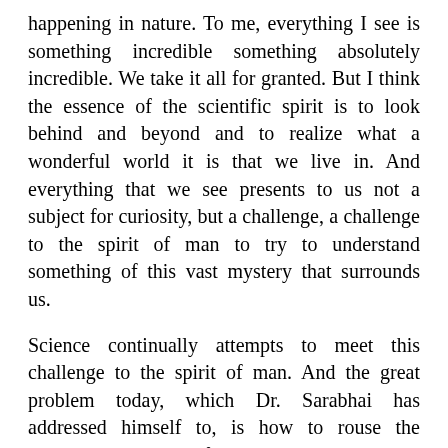happening in nature. To me, everything I see is something incredible something absolutely incredible. We take it all for granted. But I think the essence of the scientific spirit is to look behind and beyond and to realize what a wonderful world it is that we live in. And everything that we see presents to us not a subject for curiosity, but a challenge, a challenge to the spirit of man to try to understand something of this vast mystery that surrounds us.
Science continually attempts to meet this challenge to the spirit of man. And the great problem today, which Dr. Sarabhai has addressed himself to, is how to rouse the younger generation of our country to meet this great challenge before us, once again to build up India into a great center of knowledge and learning and endeavor. Well, I wish you all success. Now let me turn back to my problem "Why the sky is blue?"
I raised this question because it is an easy subject. I only